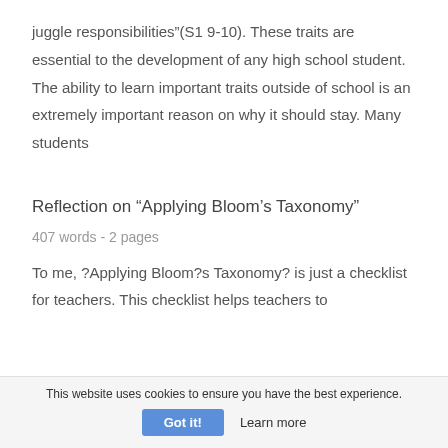juggle responsibilities”(S1 9-10). These traits are essential to the development of any high school student. The ability to learn important traits outside of school is an extremely important reason on why it should stay. Many students
Reflection on “Applying Bloom’s Taxonomy”
407 words - 2 pages
To me, ?Applying Bloom?s Taxonomy? is just a checklist for teachers. This checklist helps teachers to
This website uses cookies to ensure you have the best experience. Got it! Learn more